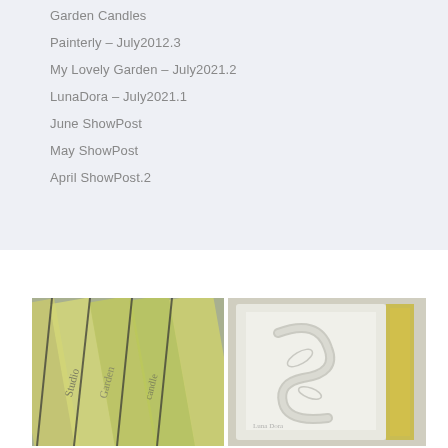Garden Candles
Painterly – July2012.3
My Lovely Garden – July2021.2
LunaDora – July2021.1
June ShowPost
May ShowPost
April ShowPost.2
[Figure (photo): Close-up of yellow-green glass fused rods with script lettering, angled view]
[Figure (photo): White framed glass tile with decorative script swirl design and yellow accent strip on right]